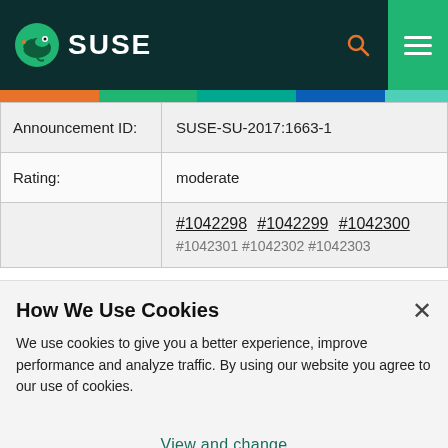SUSE
| Field | Value |
| --- | --- |
| Announcement ID: | SUSE-SU-2017:1663-1 |
| Rating: | moderate |
|  | #1042298 #1042299 #1042300 #1042301 #1042302 #1042303 |
How We Use Cookies
We use cookies to give you a better experience, improve performance and analyze traffic. By using our website you agree to our use of cookies.
View and change cookie preferences >